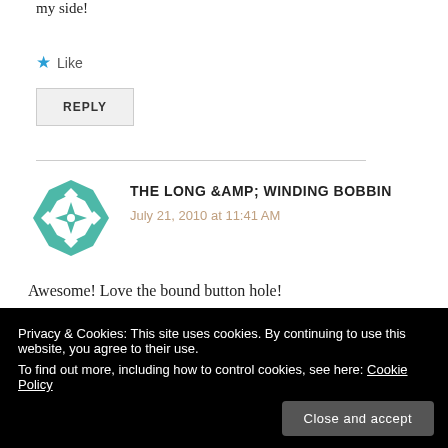my side!
★ Like
REPLY
THE LONG &AMP; WINDING BOBBIN
July 21, 2010 at 11:41 AM
[Figure (logo): Teal decorative quilt-block style logo/avatar for The Long & Winding Bobbin]
Awesome! Love the bound button hole!
Privacy & Cookies: This site uses cookies. By continuing to use this website, you agree to their use. To find out more, including how to control cookies, see here: Cookie Policy
Close and accept